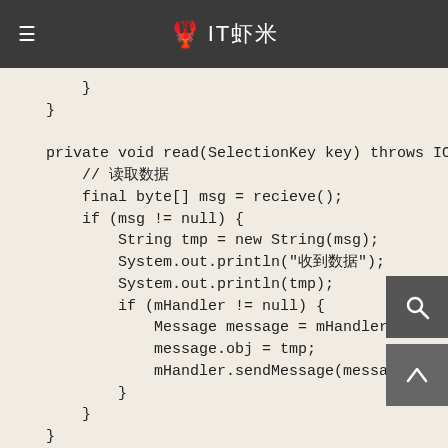🦞 IT虾米
}
}

private void read(SelectionKey key) throws IOException
    // 读取数据
    final byte[] msg = recieve();
    if (msg != null) {
        String tmp = new String(msg);
        System.out.println("收到数据");
        System.out.println(tmp);
        if (mHandler != null) {
            Message message = mHandler.obtainMessage(1
            message.obj = tmp;
            mHandler.sendMessage(message);
        }
    }
}

private byte[] recieve() throws IOException {
    if (isConnected()) {
        int len = 0;
        int readBytes = 0;